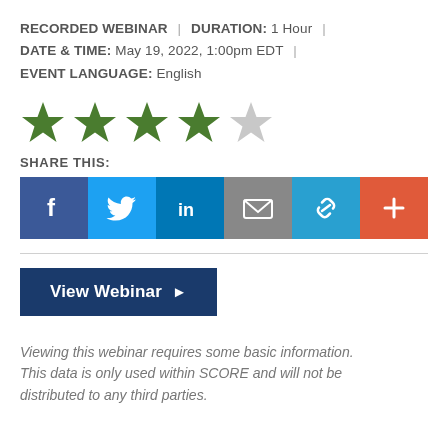RECORDED WEBINAR | DURATION: 1 Hour | DATE & TIME: May 19, 2022, 1:00pm EDT | EVENT LANGUAGE: English
[Figure (infographic): Five-star rating display: four filled green stars and one empty/grey star indicating a 4 out of 5 rating]
SHARE THIS:
[Figure (infographic): Social share buttons row: Facebook (dark blue, f icon), Twitter (light blue, bird icon), LinkedIn (blue, in icon), Email (grey, envelope icon), Link (blue, chain icon), Plus/More (orange-red, plus icon)]
View Webinar ▶
Viewing this webinar requires some basic information. This data is only used within SCORE and will not be distributed to any third parties.